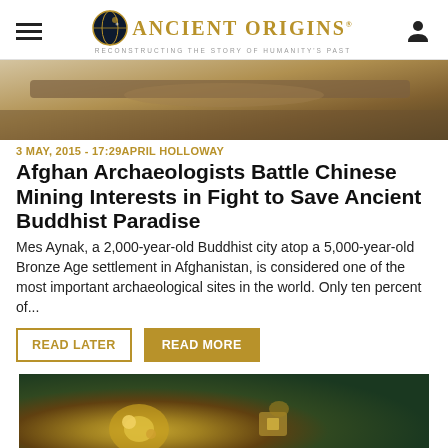Ancient Origins — Reconstructing the story of humanity's past
[Figure (photo): Close-up photo of an archaeological excavation site showing sandy soil and what appears to be ancient wooden or bone remains]
3 MAY, 2015 - 17:29 APRIL HOLLOWAY
Afghan Archaeologists Battle Chinese Mining Interests in Fight to Save Ancient Buddhist Paradise
Mes Aynak, a 2,000-year-old Buddhist city atop a 5,000-year-old Bronze Age settlement in Afghanistan, is considered one of the most important archaeological sites in the world. Only ten percent of...
READ LATER | READ MORE
[Figure (photo): Close-up photo of ancient metallic artifacts or jewelry pieces, appearing to be gold/bronze colored objects against a dark background]